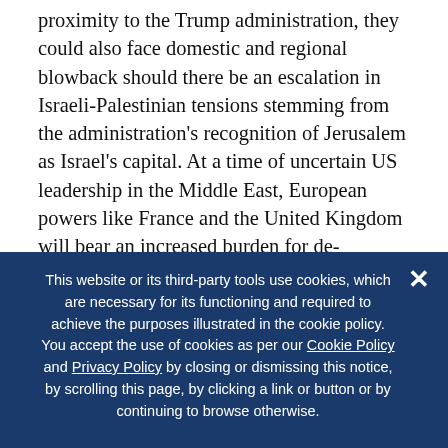proximity to the Trump administration, they could also face domestic and regional blowback should there be an escalation in Israeli-Palestinian tensions stemming from the administration's recognition of Jerusalem as Israel's capital. At a time of uncertain US leadership in the Middle East, European powers like France and the United Kingdom will bear an increased burden for de-escalating crises and containing regional powers.
9. A Scuppered Sputnik Moment for the United States and Europe? As outlined in its new National
This website or its third-party tools use cookies, which are necessary for its functioning and required to achieve the purposes illustrated in the cookie policy. You accept the use of cookies as per our Cookie Policy and Privacy Policy by closing or dismissing this notice, by scrolling this page, by clicking a link or button or by continuing to browse otherwise.